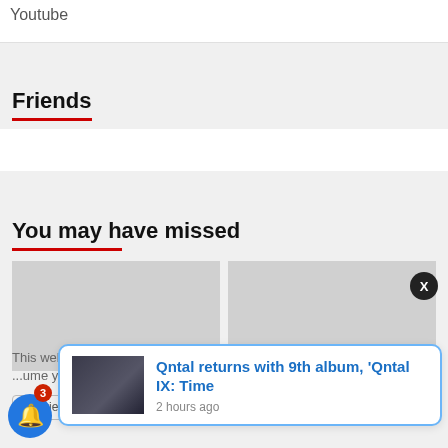Youtube
Friends
You may have missed
[Figure (photo): Two gray placeholder image boxes side by side under 'You may have missed']
This website us... ume you're...
Qntal returns with 9th album, 'Qntal IX: Time
2 hours ago